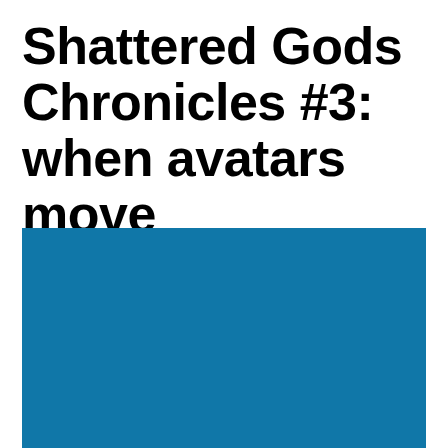Shattered Gods Chronicles #3: when avatars move
[Figure (illustration): Solid steel blue rectangle filling the lower portion of the page]